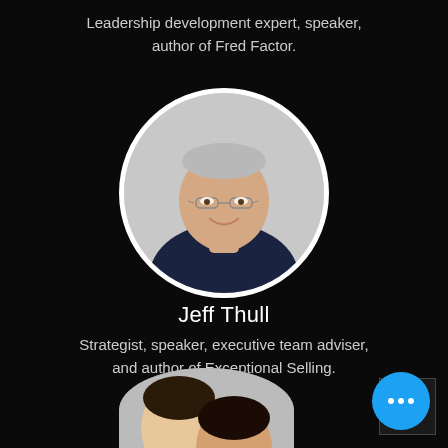Leadership development expert, speaker, author of Fred Factor.
[Figure (photo): Circular profile photo of Jeff Thull, an older man with glasses and gray hair wearing a dark navy shirt, smiling.]
Jeff Thull
Strategist, speaker, executive team adviser, and author of Exceptional Selling.
[Figure (photo): Partial circular profile photo of two people (partially visible at bottom of page).]